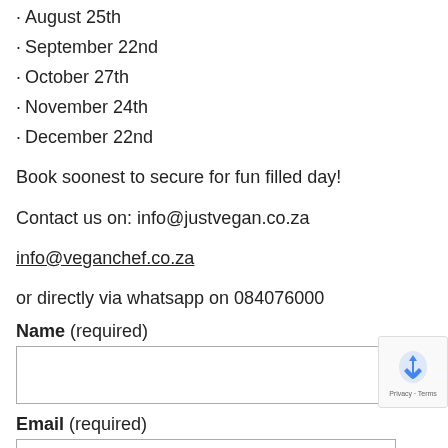• August 25th
• September 22nd
• October 27th
• November 24th
• December 22nd
Book soonest to secure for fun filled day!
Contact us on: info@justvegan.co.za
info@veganchef.co.za
or directly via whatsapp on 084076000
Name (required)
Email (required)